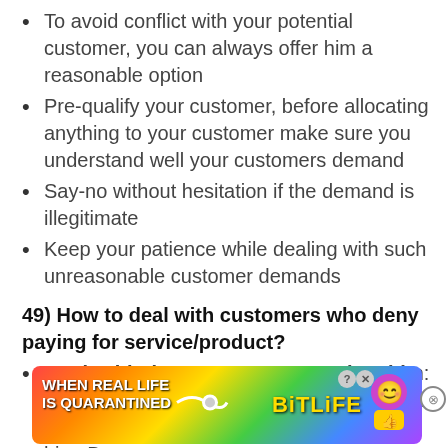To avoid conflict with your potential customer, you can always offer him a reasonable option
Pre-qualify your customer, before allocating anything to your customer make sure you understand well your customers demand
Say-no without hesitation if the demand is illegitimate
Keep your patience while dealing with such unreasonable customer demands
49) How to deal with customers who deny paying for service/product?
Work with the customer not against him: Try to figure out the exact reason why he is not willing to pay without getting angry on him. Be
[Figure (screenshot): Advertisement banner for BitLife game showing rainbow background with text 'WHEN REAL LIFE IS QUARANTINED' and BitLife logo with emoji character]